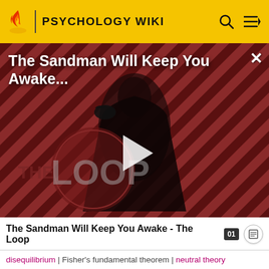PSYCHOLOGY WIKI
[Figure (screenshot): Video thumbnail for 'The Sandman Will Keep You Awake...' showing a dark-robed figure against a red and black diagonal striped background with 'THE LOOP' watermark and a play button overlay]
The Sandman Will Keep You Awake - The Loop
disequilibrium | Fisher's fundamental theorem | neutral theory
Selection: natural | sexual | artificial | ecological